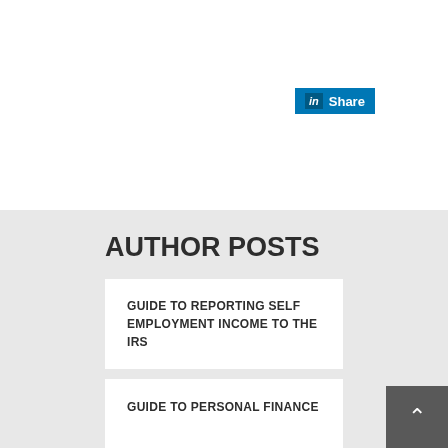[Figure (logo): LinkedIn Share button with 'in' logo box and 'Share' text on blue background]
AUTHOR POSTS
GUIDE TO REPORTING SELF EMPLOYMENT INCOME TO THE IRS
HOW THE INTERNET HAS MADE SHOPPING FOR AUTO INSURANCE SIMPLE
GUIDE TO PERSONAL FINANCE